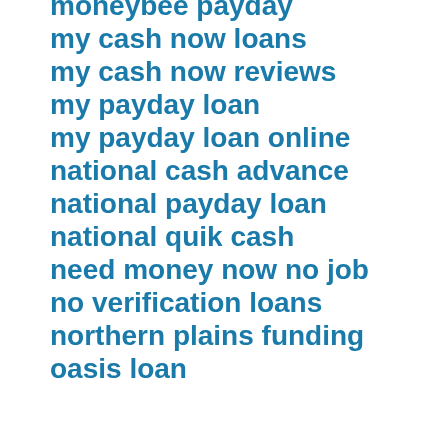moneybee payday
my cash now loans
my cash now reviews
my payday loan
my payday loan online
national cash advance
national payday loan
national quik cash
need money now no job
no verification loans
northern plains funding
oasis loan